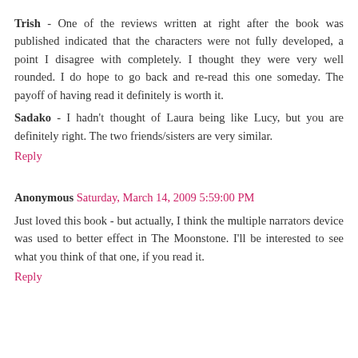Trish - One of the reviews written at right after the book was published indicated that the characters were not fully developed, a point I disagree with completely. I thought they were very well rounded. I do hope to go back and re-read this one someday. The payoff of having read it definitely is worth it.

Sadako - I hadn't thought of Laura being like Lucy, but you are definitely right. The two friends/sisters are very similar.
Reply
Anonymous Saturday, March 14, 2009 5:59:00 PM
Just loved this book - but actually, I think the multiple narrators device was used to better effect in The Moonstone. I'll be interested to see what you think of that one, if you read it.
Reply